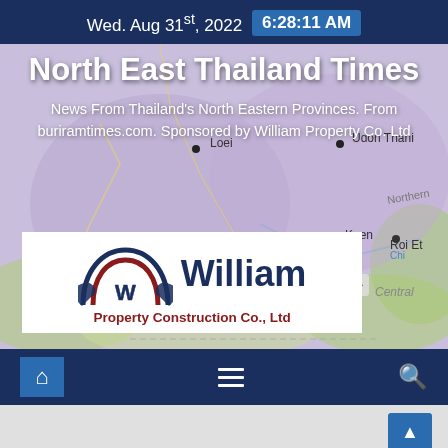Wed. Aug 31st, 2022  6:28:11 AM
[Figure (map): Map of North East Thailand region showing provinces including Loei, Udon Thani, Khon Kaen, Roi Et, with terrain background]
North East Thailand Times
News From Thailand's North Eastern Provinces. From buriramtimes.com. Sponsored by William Property Co. Ltd
[Figure (logo): William Property Construction Co., Ltd logo with arch/house graphic in dark blue and dark red, company name in dark blue and red text]
≡
🔍